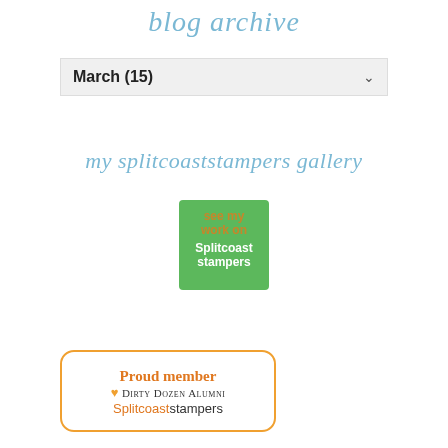blog archive
March (15)
my splitcoaststampers gallery
[Figure (logo): Green square badge with text 'see my work on Splitcoast stampers' in white and orange on green background]
[Figure (logo): Proud member Dirty Dozen Alumni Splitcoaststampers badge with orange border and heart icon]